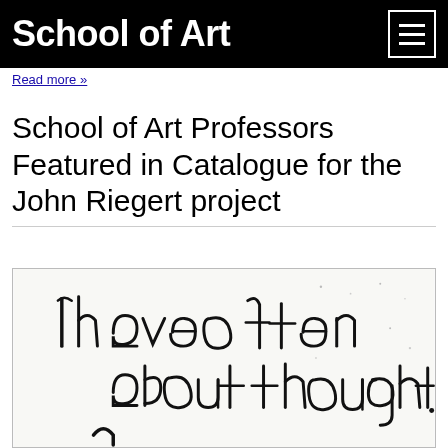School of Art
Read more »
School of Art Professors Featured in Catalogue for the John Riegert project
[Figure (photo): Handwritten text on white paper reading 'I have often about thought' with partial letter visible at bottom]